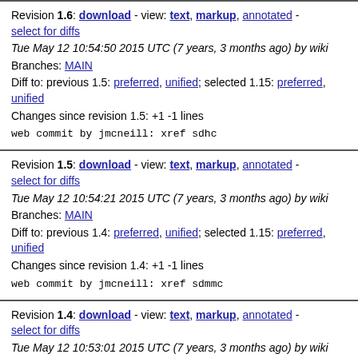Revision 1.6: download - view: text, markup, annotated - select for diffs
Tue May 12 10:54:50 2015 UTC (7 years, 3 months ago) by wiki
Branches: MAIN
Diff to: previous 1.5: preferred, unified; selected 1.15: preferred, unified
Changes since revision 1.5: +1 -1 lines
web commit by jmcneill: xref sdhc
Revision 1.5: download - view: text, markup, annotated - select for diffs
Tue May 12 10:54:21 2015 UTC (7 years, 3 months ago) by wiki
Branches: MAIN
Diff to: previous 1.4: preferred, unified; selected 1.15: preferred, unified
Changes since revision 1.4: +1 -1 lines
web commit by jmcneill: xref sdmmc
Revision 1.4: download - view: text, markup, annotated - select for diffs
Tue May 12 10:53:01 2015 UTC (7 years, 3 months ago) by wiki
Branches: MAIN